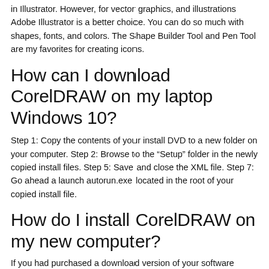in Illustrator. However, for vector graphics, and illustrations Adobe Illustrator is a better choice. You can do so much with shapes, fonts, and colors. The Shape Builder Tool and Pen Tool are my favorites for creating icons.
How can I download CorelDRAW on my laptop Windows 10?
Step 1: Copy the contents of your install DVD to a new folder on your computer. Step 2: Browse to the “Setup” folder in the newly copied install files. Step 5: Save and close the XML file. Step 7: Go ahead a launch autorun.exe located in the root of your copied install file.
How do I install CorelDRAW on my new computer?
If you had purchased a download version of your software